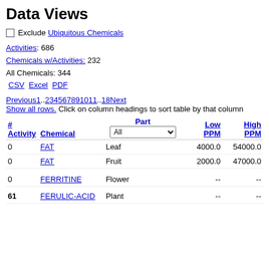Data Views
Exclude Ubiquitous Chemicals
Activities: 686
Chemicals w/Activities: 232
All Chemicals: 344
CSV  Excel  PDF
Previous1..234567891011..18Next
Show all rows. Click on column headings to sort table by that column
| # Activity | Chemical | Part | Low PPM | High PPM |
| --- | --- | --- | --- | --- |
| 0 | FAT | Leaf | 4000.0 | 54000.0 |
| 0 | FAT | Fruit | 2000.0 | 47000.0 |
| 0 | FERRITINE | Flower | -- | -- |
| 61 | FERULIC-ACID | Plant | -- | -- |